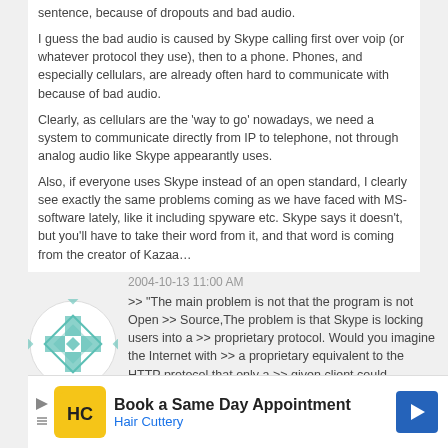sentence, because of dropouts and bad audio.
I guess the bad audio is caused by Skype calling first over voip (or whatever protocol they use), then to a phone. Phones, and especially cellulars, are already often hard to communicate with because of bad audio.
Clearly, as cellulars are the 'way to go' nowadays, we need a system to communicate directly from IP to telephone, not through analog audio like Skype appearantly uses.
Also, if everyone uses Skype instead of an open standard, I clearly see exactly the same problems coming as we have faced with MS-software lately, like it including spyware etc. Skype says it doesn't, but you'll have to take their word from it, and that word is coming from the creator of Kazaa…
2004-10-13 11:00 AM
>> "The main problem is not that the program is not Open >> Source,The problem is that Skype is locking users into a >> proprietary protocol. Would you imagine the Internet with >> a proprietary equivalent to the HTTP protocol that only a >> given client could browse?"
> "It might suck but they are simply doing it BETTER than > anyone else at present."
I'm not really convinced. What is better? Can you explain?
[Figure (logo): Hair Cuttery advertisement banner with HC logo, Book a Same Day Appointment text, and navigation arrow]